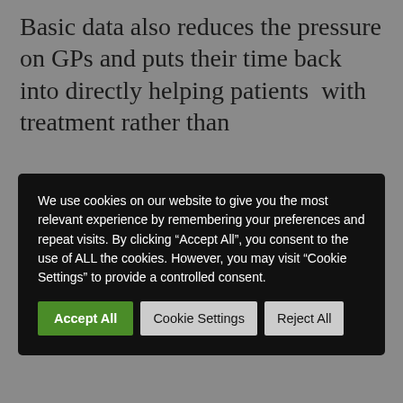Basic data also reduces the pressure on GPs and puts their time back into directly helping patients  with treatment rather than
[Figure (screenshot): Cookie consent overlay dialog on a dark background with text: 'We use cookies on our website to give you the most relevant experience by remembering your preferences and repeat visits. By clicking "Accept All", you consent to the use of ALL the cookies. However, you may visit "Cookie Settings" to provide a controlled consent.' Three buttons: Accept All (green), Cookie Settings (grey), Reject All (grey).]
million updates made to citizen details by citizens themselves. From the start of the pandemic, the NHS has seen an increase in the number of citizen-held email addresses rise from 31 to 45 percent and the records of